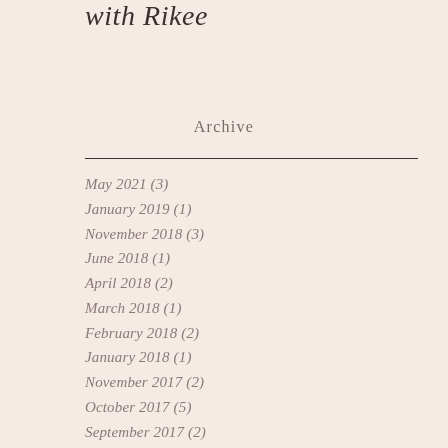with Rikee
Archive
May 2021 (3)
January 2019 (1)
November 2018 (3)
June 2018 (1)
April 2018 (2)
March 2018 (1)
February 2018 (2)
January 2018 (1)
November 2017 (2)
October 2017 (5)
September 2017 (2)
August 2017 (2)